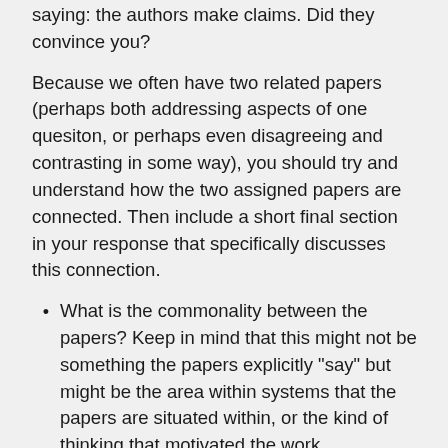saying: the authors make claims.  Did they convince you?
Because we often have two related papers (perhaps both addressing aspects of one quesiton, or perhaps even disagreeing and contrasting in some way), you should try and understand how the two assigned papers are connected.  Then include a short final section in your response that specifically discusses this connection.
What is the commonality between the papers?  Keep in mind that this might not be something the papers explicitly "say" but might be the area within systems that the papers are situated within, or the kind of thinking that motivated the work.
Are these papers both in agreement and looking at distinct aspects of some shared issue?  Are they disagreeing in some deep sense?  Or do they look at different facets of a broader question?
Do you have an opinion on this question?  What is your view, and how does your view relate to the one in the